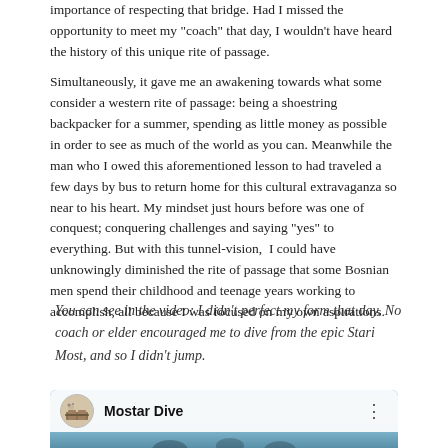importance of respecting that bridge. Had I missed the opportunity to meet my "coach" that day, I wouldn't have heard the history of this unique rite of passage.
Simultaneously, it gave me an awakening towards what some consider a western rite of passage: being a shoestring backpacker for a summer, spending as little money as possible in order to see as much of the world as you can. Meanwhile the man who I owed this aforementioned lesson to had traveled a few days by bus to return home for this cultural extravaganza so near to his heart. My mindset just hours before was one of conquest; conquering challenges and saying "yes" to everything. But with this tunnel-vision, I could have unknowingly diminished the rite of passage that some Bosnian men spend their childhood and teenage years working to accomplish, all because I was focused on my own aspirations.
You can see in the video: I didn't perfect my form that day. No coach or elder encouraged me to dive from the epic Stari Most, and so I didn't jump.
[Figure (screenshot): YouTube video embed showing 'Mostar Dive' with a channel avatar icon, video title, three-dot menu, and a partial view of people near a bridge against a blue sky background.]